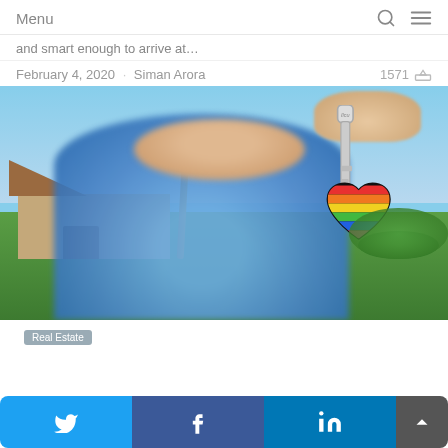Menu
and smart enough to arrive at…
February 4, 2020 · Siman Arora   1571
[Figure (photo): Person in blue shirt holding up a house key on a rainbow pride heart keychain, smiling in front of a house with palm trees and greenery. Outdoor daylight scene.]
Real Estate
Twitter share button, Facebook share button, LinkedIn share button, scroll to top button